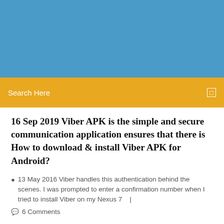[Figure (other): Blue header banner background]
Search Here
16 Sep 2019 Viber APK is the simple and secure communication application ensures that there is How to download & install Viber APK for Android?
13 May 2016 Viber handles this authentication behind the scenes. I was prompted to enter a confirmation number when I tried to install Viber on my Nexus 7   |
6 Comments